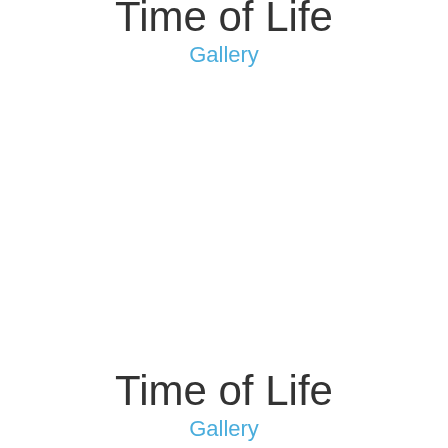Time of Life
Gallery
Time of Life
Gallery